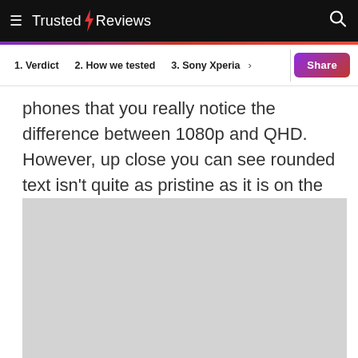Trusted Reviews
1. Verdict   2. How we tested   3. Sony Xperia
phones that you really notice the difference between 1080p and QHD. However, up close you can see rounded text isn't quite as pristine as it is on the Galaxy S7.
[Figure (photo): Gray placeholder image]